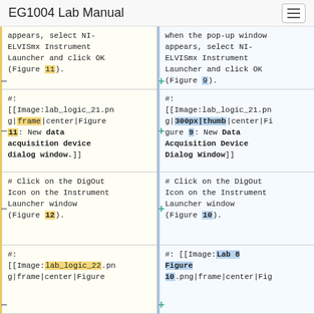EG1004 Lab Manual
appears, select NI-ELVISmx Instrument Launcher and click OK (Figure 11).
when the pop-up window appears, select NI-ELVISmx Instrument Launcher and click OK (Figure 9).
#:
[[Image:lab_logic_21.png|frame|center|Figure 11: New data acquisition device dialog window.]]
#:
[[Image:lab_logic_21.png|300px|thumb|center|Figure 9: New Data Acquisition Device Dialog Window]]
# Click on the DigOut Icon on the Instrument Launcher window (Figure 12).
# Click on the DigOut Icon on the Instrument Launcher window (Figure 10).
#:
[[Image:lab_logic_22.png|frame|center|Figure
#: [[Image:Lab 8 Figure 10.png|frame|center|Fig